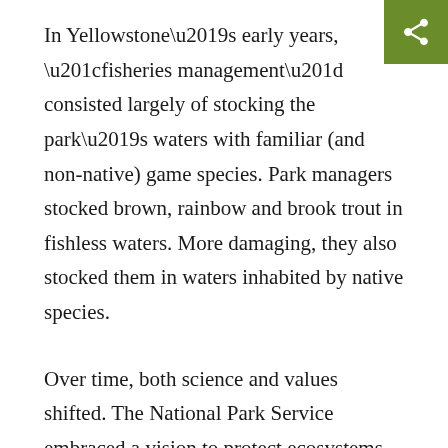In Yellowstone’s early years, “fisheries management” consisted largely of stocking the park’s waters with familiar (and non-native) game species. Park managers stocked brown, rainbow and brook trout in fishless waters. More damaging, they also stocked them in waters inhabited by native species.
Over time, both science and values shifted. The National Park Service embraced a vision to protect ecosystems and biodiversity, including native fish. Non-native fish were no longer stocked and ambitious native fish restoration and reintroduction programs were established.